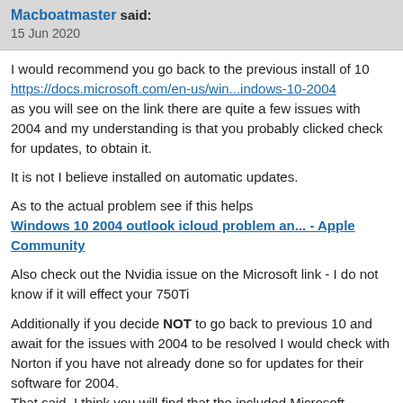Macboatmaster said:
15 Jun 2020
I would recommend you go back to the previous install of 10
https://docs.microsoft.com/en-us/win...indows-10-2004
as you will see on the link there are quite a few issues with 2004 and my understanding is that you probably clicked check for updates, to obtain it.
It is not I believe installed on automatic updates.
As to the actual problem see if this helps
Windows 10 2004 outlook icloud problem an... - Apple Community
Also check out the Nvidia issue on the Microsoft link - I do not know if it will effect your 750Ti
Additionally if you decide NOT to go back to previous 10 and await for the issues with 2004 to be resolved I would check with Norton if you have not already done so for updates for their software for 2004.
That said, I think you will find that the included Microsoft Windows Security centre (Defender) is the one to go with.
That however is only IMHO.